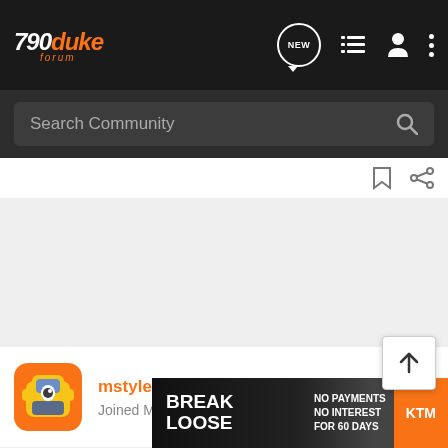790duke forum
Search Community
mstyle · Registered  Joined May 30, 2019 · 39 Posts
#5 · Jun 19, 2019
Michael Evans said: Hello, ... the 790?
[Figure (screenshot): KTM advertisement banner: BREAK LOOSE - NO PAYMENTS NO INTEREST FOR 60 DAYS]